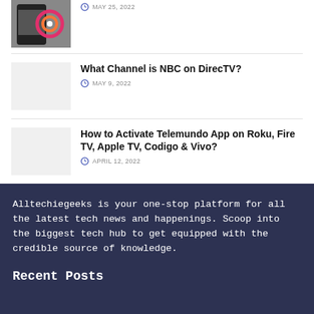MAY 25, 2022
What Channel is NBC on DirecTV?
MAY 9, 2022
How to Activate Telemundo App on Roku, Fire TV, Apple TV, Codigo & Vivo?
APRIL 12, 2022
Alltechiegeeks is your one-stop platform for all the latest tech news and happenings. Scoop into the biggest tech hub to get equipped with the credible source of knowledge.
Recent Posts